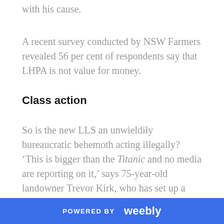with his cause.
A recent survey conducted by NSW Farmers revealed 56 per cent of respondents say that LHPA is not value for money.
Class action
So is the new LLS an unwieldily bureaucratic behemoth acting illegally? ‘This is bigger than the Titanic and no media are reporting on it,’ says 75-year-old landowner Trevor Kirk, who has set up a class action against the LLS.
POWERED BY weebly